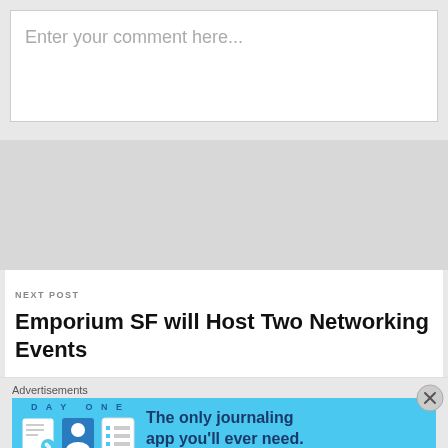Enter your comment here...
NEXT POST
Emporium SF will Host Two Networking Events
Advertisements
[Figure (screenshot): Day One journaling app advertisement banner with blue background showing 'DAY ONE' text and app icons with tagline 'The only journaling app you'll ever need.']